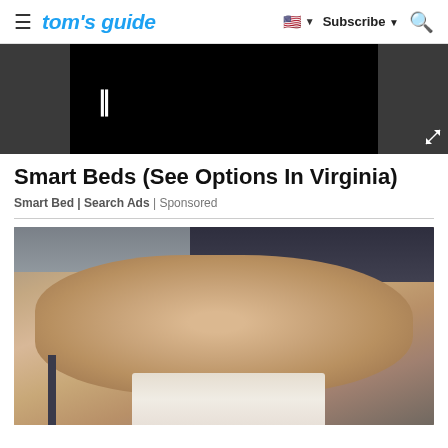tom's guide | Subscribe | [search]
[Figure (screenshot): Video player showing paused video with black background and white pause icon (II), with expand icon in bottom right corner]
Smart Beds (See Options In Virginia)
Smart Bed | Search Ads | Sponsored
[Figure (photo): Close-up photograph of a person's hands clasped together, showing hairy forearms and wrists with a small tattoo visible, wearing a white sock, seated on what appears to a chair]